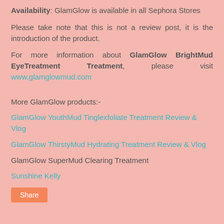Availability: GlamGlow is available in all Sephora Stores
Please take note that this is not a review post, it is the introduction of the product.
For more information about GlamGlow BrightMud EyeTreatment Treatment, please visit www.glamglowmud.com
More GlamGlow products:-
GlamGlow YouthMud Tinglexfoliate Treatment Review & Vlog
GlamGlow ThirstyMud Hydrating Treatment Review & Vlog
GlamGlow SuperMud Clearing Treatment
Sunshine Kelly
Share